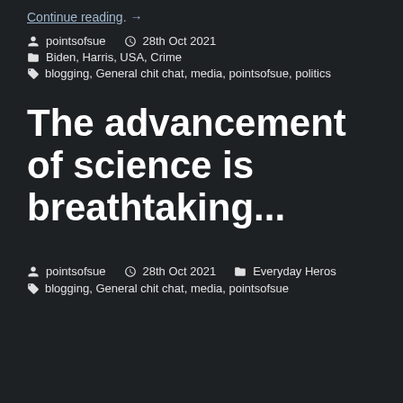Continue reading →
pointsofsue  28th Oct 2021
Biden, Harris, USA, Crime
blogging, General chit chat, media, pointsofsue, politics
The advancement of science is breathtaking...
pointsofsue  28th Oct 2021  Everyday Heros
blogging, General chit chat, media, pointsofsue